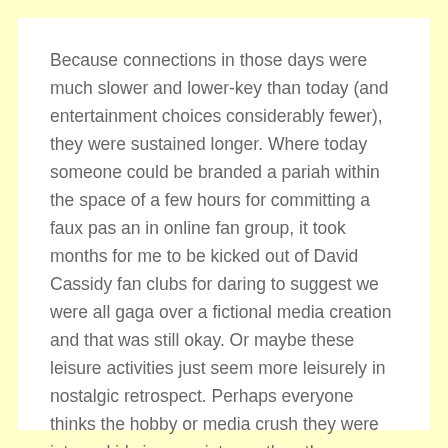Because connections in those days were much slower and lower-key than today (and entertainment choices considerably fewer), they were sustained longer. Where today someone could be branded a pariah within the space of a few hours for committing a faux pas an in online fan group, it took months for me to be kicked out of David Cassidy fan clubs for daring to suggest we were all gaga over a fictional media creation and that was still okay. Or maybe these leisure activities just seem more leisurely in nostalgic retrospect. Perhaps everyone thinks the hobby or media crush they were into as kids is more intense than the same interests seem to them later in life.
(more...)